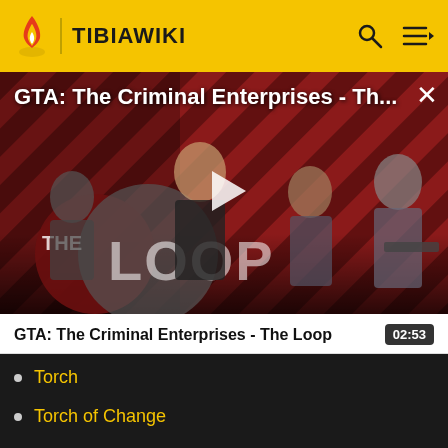TIBIAWIKI
[Figure (screenshot): Video thumbnail for GTA: The Criminal Enterprises - The Loop showing four characters on a red/black diagonal-stripe background with play button overlay and THE LOOP logo]
GTA: The Criminal Enterprises - Th...
GTA: The Criminal Enterprises - The Loop
02:53
Torch
Torch of Change
Trap
Turquoise Tendril Lantern